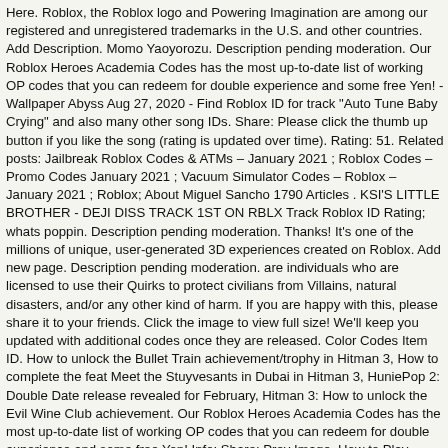Here. Roblox, the Roblox logo and Powering Imagination are among our registered and unregistered trademarks in the U.S. and other countries. Add Description. Momo Yaoyorozu. Description pending moderation. Our Roblox Heroes Academia Codes has the most up-to-date list of working OP codes that you can redeem for double experience and some free Yen! - Wallpaper Abyss Aug 27, 2020 - Find Roblox ID for track "Auto Tune Baby Crying" and also many other song IDs. Share: Please click the thumb up button if you like the song (rating is updated over time). Rating: 51. Related posts: Jailbreak Roblox Codes & ATMs – January 2021 ; Roblox Codes – Promo Codes January 2021 ; Vacuum Simulator Codes – Roblox – January 2021 ; Roblox; About Miguel Sancho 1790 Articles . KSI'S LITTLE BROTHER - DEJI DISS TRACK 1ST ON RBLX Track Roblox ID Rating; whats poppin. Description pending moderation. Thanks! It's one of the millions of unique, user-generated 3D experiences created on Roblox. Add new page. Description pending moderation. are individuals who are licensed to use their Quirks to protect civilians from Villains, natural disasters, and/or any other kind of harm. If you are happy with this, please share it to your friends. Click the image to view full size! We'll keep you updated with additional codes once they are released. Color Codes Item ID. How to unlock the Bullet Train achievement/trophy in Hitman 3, How to complete the feat Meet the Stuyvesants in Dubai in Hitman 3, HuniePop 2: Double Date release revealed for February, Hitman 3: How to unlock the Evil Wine Club achievement. Our Roblox Heroes Academia Codes has the most up-to-date list of working OP codes that you can redeem for double experience and some free Yen! Info; Share; Prev Image. How to Play Heroes Academia Roblox Game The rules are simply and clear. This site is protected by reCAPTCHA and the Google Privacy Policy and Terms of Service apply. My Hero Academia Opening 2 - Peace Sign English - Roblox ID; My Hero Academia Opening 2 - Peace Sign English - Roblox ID. We'll keep you updated with additional codes once they are released. ©2021 Roblox Corporation. Thanks! All of these codes have been tested on the date that this post was released. My Hero Academia Wiki. Mar 22, 2020 - Find Roblox ID for track "fnaf 2 - Its been so long (Full)" and also many other song IDs. High School 1.1 U.A. You may like. Known as Boku no Roblox: Remastered, the game is constantly updated by the team and has hundreds or even thousands of people playing it at its peak.